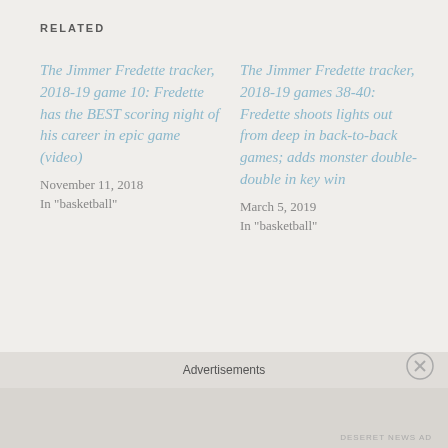RELATED
The Jimmer Fredette tracker, 2018-19 game 10: Fredette has the BEST scoring night of his career in epic game (video)
November 11, 2018
In "basketball"
The Jimmer Fredette tracker, 2018-19 games 38-40: Fredette shoots lights out from deep in back-to-back games; adds monster double-double in key win
March 5, 2019
In "basketball"
BYU Cougs in the news: Jimmer Fredette leads Sharks to big win; Mika sees first EuroCup action
October 4, 2018
Advertisements